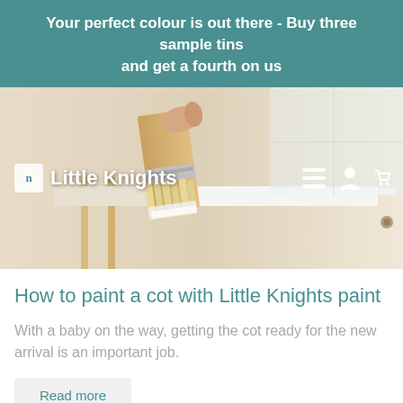Your perfect colour is out there - Buy three sample tins and get a fourth on us
[Figure (photo): Close-up photo of a hand holding a paint brush applying white paint to a wooden cot, with Little Knights logo and navigation icons overlaid on the image.]
How to paint a cot with Little Knights paint
With a baby on the way, getting the cot ready for the new arrival is an important job.
Read more